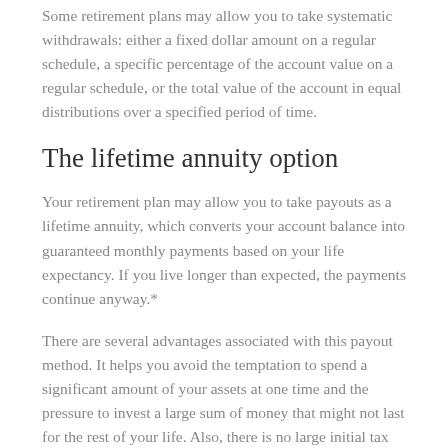Some retirement plans may allow you to take systematic withdrawals: either a fixed dollar amount on a regular schedule, a specific percentage of the account value on a regular schedule, or the total value of the account in equal distributions over a specified period of time.
The lifetime annuity option
Your retirement plan may allow you to take payouts as a lifetime annuity, which converts your account balance into guaranteed monthly payments based on your life expectancy. If you live longer than expected, the payments continue anyway.*
There are several advantages associated with this payout method. It helps you avoid the temptation to spend a significant amount of your assets at one time and the pressure to invest a large sum of money that might not last for the rest of your life. Also, there is no large initial tax bill on your entire nest egg; each